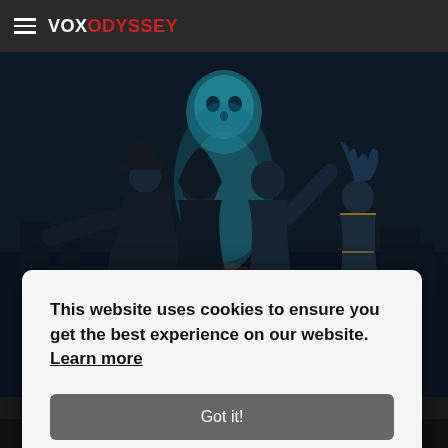VOX ODYSSEY
[Figure (illustration): Dark stylized game art showing several characters in dark clothing fighting against a glowing supernatural entity on what appears to be a train track. The scene has a dark blue color palette with a glowing golden/amber light in the center.]
HARD WEST 2
This website uses cookies to ensure you get the best experience on our website. Learn more
Got it!